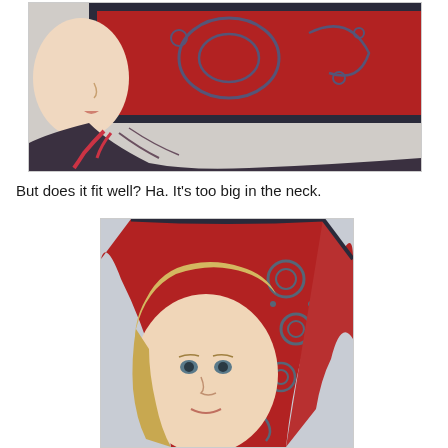[Figure (photo): Close-up side profile of a child wearing a red knitted hood/hat with gray decorative pattern, dark border trim, tied at the neck. Child has long hair and is wearing a dark navy jacket.]
But does it fit well? Ha.  It's too big in the neck.
[Figure (photo): Front-facing photo of a young blonde girl wearing a red knitted bonnet/hood with gray circular pattern motifs and dark border trim. The bonnet frames her face and she looks directly at the camera.]